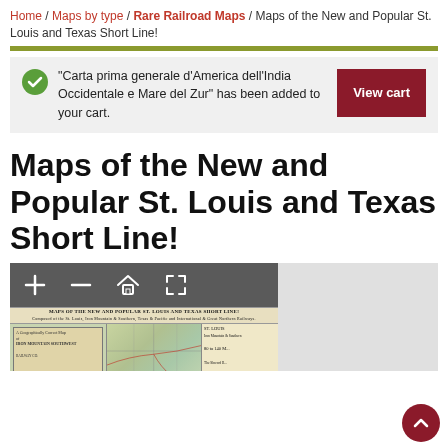Home / Maps by type / Rare Railroad Maps / Maps of the New and Popular St. Louis and Texas Short Line!
"Carta prima generale d'America dell'India Occidentale e Mare del Zur" has been added to your cart.
View cart
Maps of the New and Popular St. Louis and Texas Short Line!
[Figure (map): Interactive map viewer showing an old railroad map titled 'Maps of the New and Popular St. Louis and Texas Short Line!' with zoom/home/fullscreen toolbar controls. The map shows railroad routes across US states.]